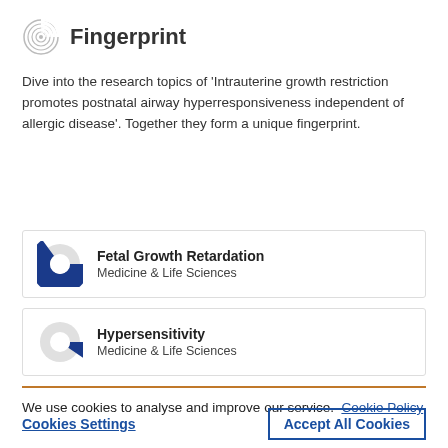Fingerprint
Dive into the research topics of 'Intrauterine growth restriction promotes postnatal airway hyperresponsiveness independent of allergic disease'. Together they form a unique fingerprint.
[Figure (other): Donut-style progress circle nearly full (dark blue, ~90%) representing Fetal Growth Retardation score]
Fetal Growth Retardation
Medicine & Life Sciences
[Figure (other): Donut-style progress circle about one-third filled (dark blue, ~35%) representing Hypersensitivity score]
Hypersensitivity
Medicine & Life Sciences
We use cookies to analyse and improve our service. Cookie Policy
Cookies Settings
Accept All Cookies